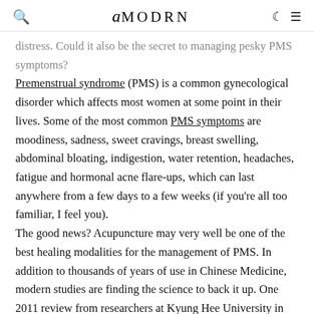amodrn
distress. Could it also be the secret to managing pesky PMS symptoms?
Premenstrual syndrome (PMS) is a common gynecological disorder which affects most women at some point in their lives. Some of the most common PMS symptoms are moodiness, sadness, sweet cravings, breast swelling, abdominal bloating, indigestion, water retention, headaches, fatigue and hormonal acne flare-ups, which can last anywhere from a few days to a few weeks (if you're all too familiar, I feel you).
The good news? Acupuncture may very well be one of the best healing modalities for the management of PMS. In addition to thousands of years of use in Chinese Medicine, modern studies are finding the science to back it up. One 2011 review from researchers at Kyung Hee University in